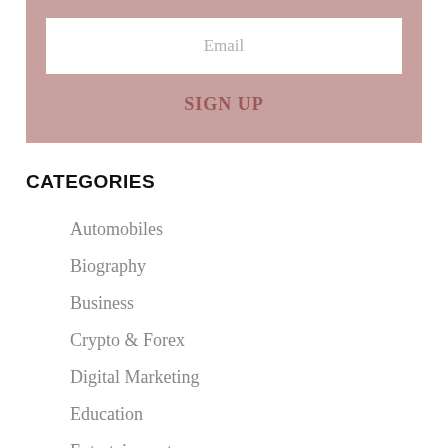[Figure (other): Email sign-up form with a pink/mauve background, white email input field with placeholder text 'Email', and a 'SIGN UP' button in dark rose text]
CATEGORIES
Automobiles
Biography
Business
Crypto & Forex
Digital Marketing
Education
Entertainment